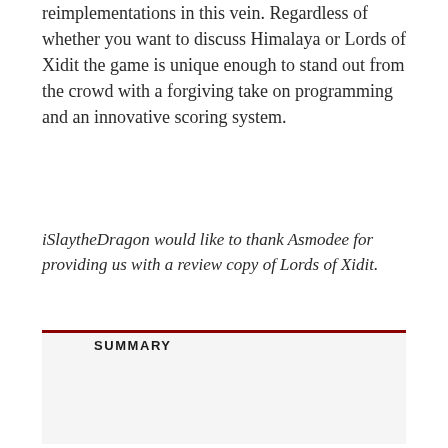reimplementations in this vein. Regardless of whether you want to discuss Himalaya or Lords of Xidit the game is unique enough to stand out from the crowd with a forgiving take on programming and an innovative scoring system.
iSlaytheDragon would like to thank Asmodee for providing us with a review copy of Lords of Xidit.
SUMMARY
| Rating | 8.5 |
| --- | --- |
| User Ratings (0 Votes) | 0 |